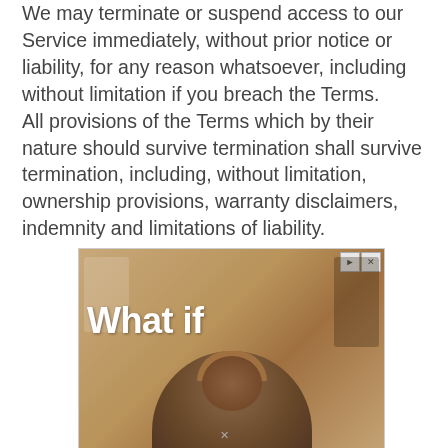We may terminate or suspend access to our Service immediately, without prior notice or liability, for any reason whatsoever, including without limitation if you breach the Terms.
All provisions of the Terms which by their nature should survive termination shall survive termination, including, without limitation, ownership provisions, warranty disclaimers, indemnity and limitations of liability.
[Figure (photo): Advertisement image showing a person with a beard wearing a hat, seated in front of a wooden wall decorated with various items. Large white bold text overlay reads 'What if'. Small play and close buttons visible in top-right corner.]